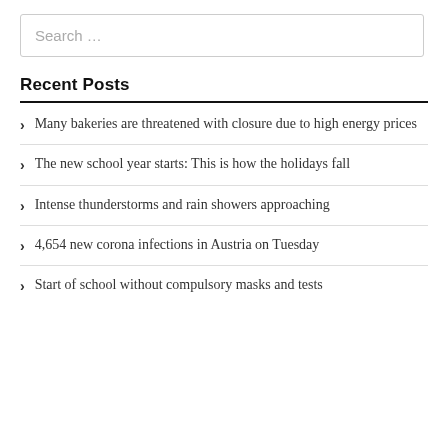Search …
Recent Posts
Many bakeries are threatened with closure due to high energy prices
The new school year starts: This is how the holidays fall
Intense thunderstorms and rain showers approaching
4,654 new corona infections in Austria on Tuesday
Start of school without compulsory masks and tests